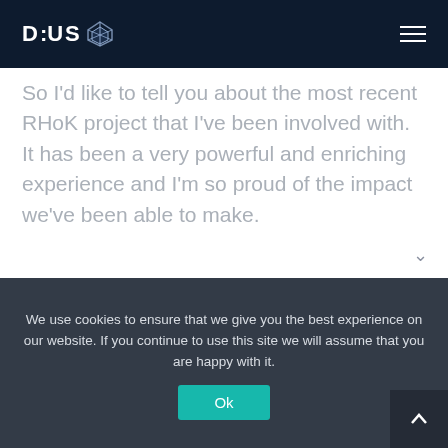DIUS
So I'd like to tell you about the most recent RHoK project that I've been involved with. It has been a very powerful and enriching experience and I'm so proud of the impact we've been able to make.
Here is a bit of background to set the scene...
Dan is a father of three beautiful children. One of his sons is ten years
We use cookies to ensure that we give you the best experience on our website. If you continue to use this site we will assume that you are happy with it.